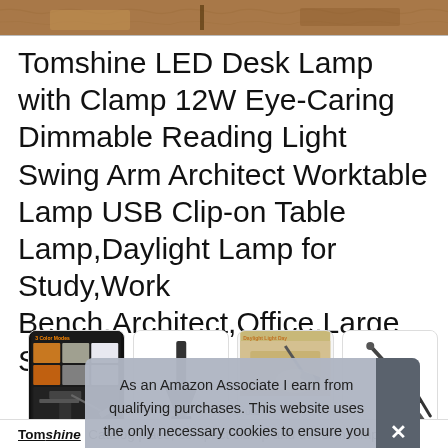[Figure (photo): Top strip showing a product image of a desk lamp, partially visible]
Tomshine LED Desk Lamp with Clamp 12W Eye-Caring Dimmable Reading Light Swing Arm Architect Worktable Lamp USB Clip-on Table Lamp,Daylight Lamp for Study,Work Bench,Architect,Office,Large Size
[Figure (photo): Row of four product thumbnail images showing the lamp from different angles and color modes]
As an Amazon Associate I earn from qualifying purchases. This website uses the only necessary cookies to ensure you get the best experience on our website. More information
Tomshine   Catalog place, compact clamp and the slim lamp